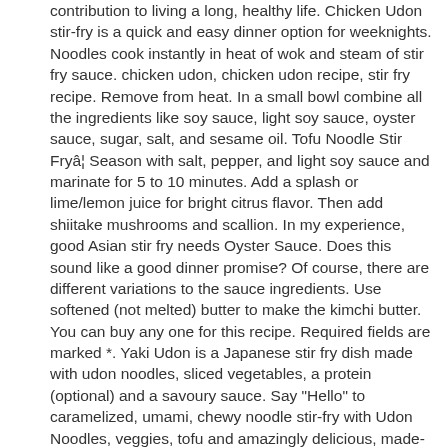contribution to living a long, healthy life. Chicken Udon stir-fry is a quick and easy dinner option for weeknights. Noodles cook instantly in heat of wok and steam of stir fry sauce. chicken udon, chicken udon recipe, stir fry recipe. Remove from heat. In a small bowl combine all the ingredients like soy sauce, light soy sauce, oyster sauce, sugar, salt, and sesame oil. Tofu Noodle Stir Fryâ¦ Season with salt, pepper, and light soy sauce and marinate for 5 to 10 minutes. Add a splash or lime/lemon juice for bright citrus flavor. Then add shiitake mushrooms and scallion. In my experience, good Asian stir fry needs Oyster Sauce. Does this sound like a good dinner promise? Of course, there are different variations to the sauce ingredients. Use softened (not melted) butter to make the kimchi butter. You can buy any one for this recipe. Required fields are marked *. Yaki Udon is a Japanese stir fry dish made with udon noodles, sliced vegetables, a protein (optional) and a savoury sauce. Say "Hello" to caramelized, umami, chewy noodle stir-fry with Udon Noodles, veggies, tofu and amazingly delicious, made-from-scratch stir-fry sauce. Add the onion and saute until translucent. Chicken Udon stir-fry is a quick and easy dinner option for weeknights. This recipe works great either way.Â I used Tofu for a meat-free main course with serving of veggie protein. Drain and rinse with warm water, then return them to the pot and toss with 1 to 2 tablespoons oil to prevent sticking. Stir fry for 3-4 minutes, or until the mushrooms are soft and the broccolini is deep green (but still relatively crunchy). 20 minutes start to finish!Â What would you like me to cook next? Adding bean sprouts, mushrooms, bell peppers, and cabbage also makes the dish more rounded and healthier. Add the chicken breast stir-fry until brown and cooked through. (affiliate link). Those are often used in hot, rich